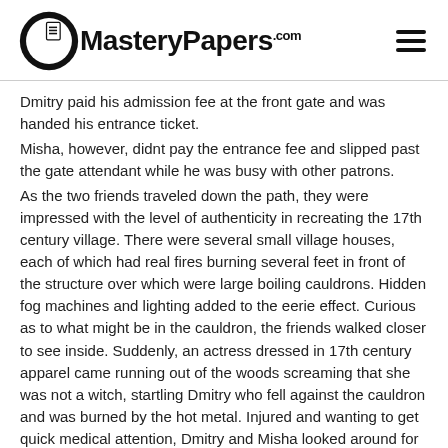MasteryPapers.com
Dmitry paid his admission fee at the front gate and was handed his entrance ticket.
Misha, however, didnt pay the entrance fee and slipped past the gate attendant while he was busy with other patrons.
As the two friends traveled down the path, they were impressed with the level of authenticity in recreating the 17th century village. There were several small village houses, each of which had real fires burning several feet in front of the structure over which were large boiling cauldrons. Hidden fog machines and lighting added to the eerie effect. Curious as to what might be in the cauldron, the friends walked closer to see inside. Suddenly, an actress dressed in 17th century apparel came running out of the woods screaming that she was not a witch, startling Dmitry who fell against the cauldron and was burned by the hot metal. Injured and wanting to get quick medical attention, Dmitry and Misha looked around for an employee but didnt see anyone other than a few other patrons. The actress who had run out of the woods just moments before was nowhere to be found. Misha said, This is ridiculous. We arent going to go through this whole attraction just to get out. Its over